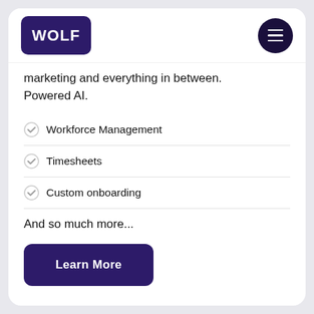[Figure (logo): WOLF logo in white text on dark purple/navy rounded rectangle background, with hamburger menu button (three white lines on dark navy circle) on the right]
marketing and everything in between. Powered AI.
Workforce Management
Timesheets
Custom onboarding
And so much more...
Learn More